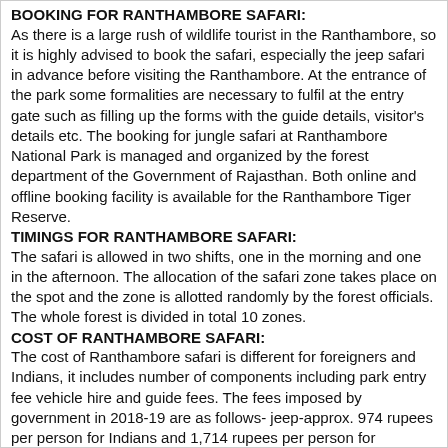BOOKING FOR RANTHAMBORE SAFARI:
As there is a large rush of wildlife tourist in the Ranthambore, so it is highly advised to book the safari, especially the jeep safari in advance before visiting the Ranthambore. At the entrance of the park some formalities are necessary to fulfil at the entry gate such as filling up the forms with the guide details, visitor's details etc. The booking for jungle safari at Ranthambore National Park is managed and organized by the forest department of the Government of Rajasthan. Both online and offline booking facility is available for the Ranthambore Tiger Reserve.
TIMINGS FOR RANTHAMBORE SAFARI:
The safari is allowed in two shifts, one in the morning and one in the afternoon. The allocation of the safari zone takes place on the spot and the zone is allotted randomly by the forest officials. The whole forest is divided in total 10 zones.
COST OF RANTHAMBORE SAFARI:
The cost of Ranthambore safari is different for foreigners and Indians, it includes number of components including park entry fee vehicle hire and guide fees. The fees imposed by government in 2018-19 are as follows- jeep-approx. 974 rupees per person for Indians and 1,714 rupees per person for foreigners.
BEST TIME TO VISIT RANTHAMBORE:
The best time to visit Ranthambore National Park will be from 1st October to 30th June. Rest of the time the park is closed for the visitors.
https://rajasthantime.com
Author's Bio: